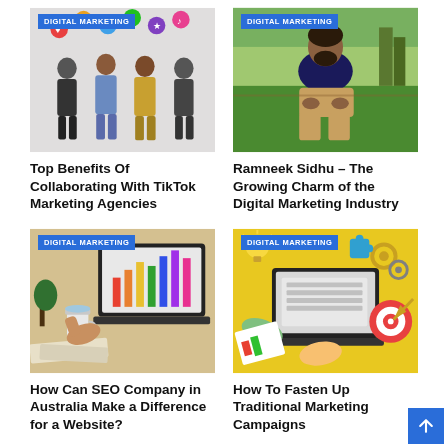[Figure (photo): Four people standing against a wall using smartphones, with social media icons floating above them. DIGITAL MARKETING tag overlay.]
[Figure (photo): Man sitting outdoors in casual clothes, relaxing. DIGITAL MARKETING tag overlay.]
Top Benefits Of Collaborating With TikTok Marketing Agencies
Ramneek Sidhu – The Growing Charm of the Digital Marketing Industry
[Figure (photo): Person pointing at charts on a laptop screen at a desk with coffee cup. DIGITAL MARKETING tag overlay.]
[Figure (illustration): Illustrated scene of hands on laptop with target, gears, puzzle pieces on yellow background. DIGITAL MARKETING tag overlay.]
How Can SEO Company in Australia Make a Difference for a Website?
How To Fasten Up Traditional Marketing Campaigns